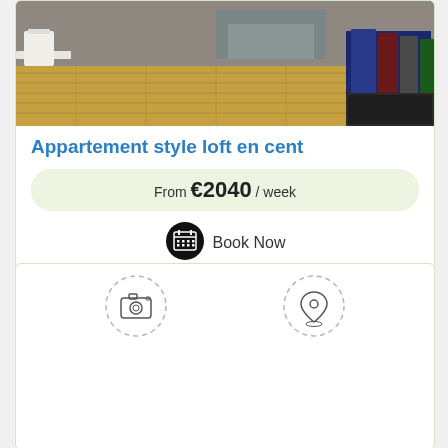[Figure (photo): Interior room photo showing hardwood floor, white table and chair on left, sofa in background, magazines/books on right side]
Appartement style loft en cent
From €2040 / week
Book Now
[Figure (other): Two dashed-circle icons: a camera icon on the left and a map pin/location icon on the right, inside a white card]